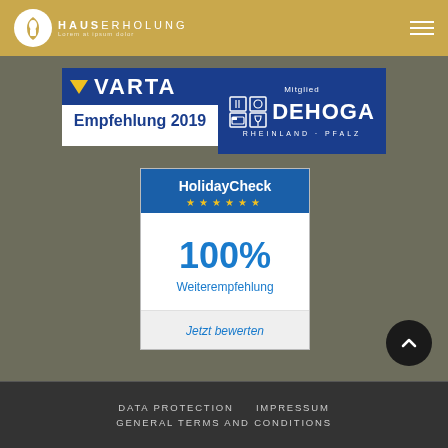HAUS ERHOLUNG
[Figure (logo): VARTA Empfehlung 2019 badge - blue and white logo with yellow triangle and text 'Empfehlung 2019']
[Figure (logo): DEHOGA Rheinland-Pfalz Mitglied badge - blue logo with hotel/restaurant icons and text 'DEHOGA RHEINLAND-PFALZ']
[Figure (infographic): HolidayCheck widget showing 100% Weiterempfehlung (recommendation) with yellow stars and 'Jetzt bewerten' button]
DATA PROTECTION    IMPRESSUM
GENERAL TERMS AND CONDITIONS